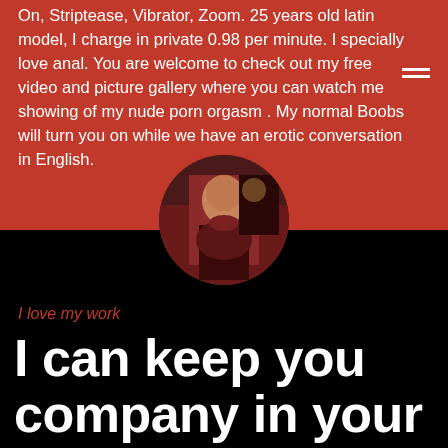On, Striptease, Vibrator, Zoom. 25 years old latin model, I charge in private 0.98 per minute. I specially love anal. You are welcome to check out my free video and picture gallery where you can watch me showing of my nude porn orgasm . My normal Boobs will turn you on while we have an erotic conversation in English.
[Figure (photo): Circular profile photo of a woman in lingerie sitting on a red surface in a dimly lit room]
I love my work
I can keep you company in your native language